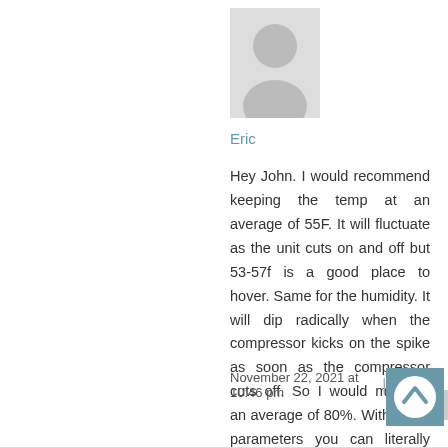[Figure (illustration): Generic user avatar silhouette in gray]
Eric
Hey John. I would recommend keeping the temp at an average of 55F. It will fluctuate as the unit cuts on and off but 53-57f is a good place to hover. Same for the humidity. It will dip radically when the compressor kicks on the spike as soon as the compressor cuts off. So I would maintain an average of 80%. With those parameters you can literally put anything you want in the chamber..
November 22, 2021 at 10:46 pm   Reply
[Figure (illustration): Scroll-to-top button: teal square with white circle and upward arrow]